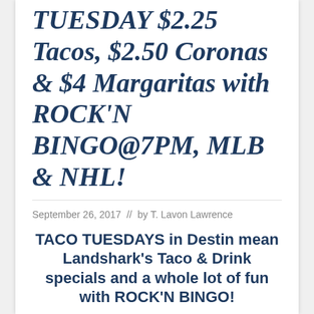TUESDAY $2.25 Tacos, $2.50 Coronas & $4 Margaritas with ROCK'N BINGO@7PM, MLB & NHL!
September 26, 2017  //  by T. Lavon Lawrence
TACO TUESDAYS in Destin mean Landshark's Taco & Drink specials and a whole lot of fun with ROCK'N BINGO!
Our Award-Winning TACO TUESDAY SPECIALS: $2.25 BEEF, $2.50 PORK OR CHICKEN (dine in